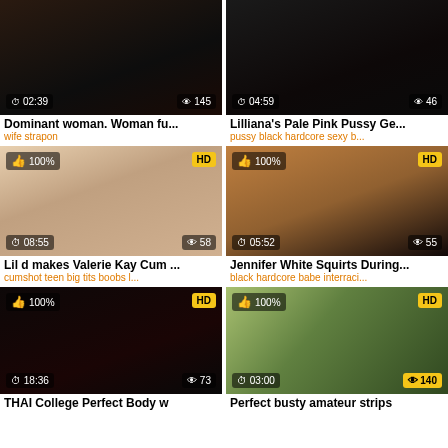[Figure (screenshot): Video thumbnail row 1 col 1, dark tones, duration 02:39, views 145]
Dominant woman. Woman fu...
wife strapon
[Figure (screenshot): Video thumbnail row 1 col 2, dark tones, duration 04:59, views 46]
Lilliana's Pale Pink Pussy Ge...
pussy black hardcore sexy b...
[Figure (screenshot): Video thumbnail row 2 col 1, skin tones, 100%, HD, duration 08:55, views 58]
Lil d makes Valerie Kay Cum ...
cumshot teen big tits boobs l...
[Figure (screenshot): Video thumbnail row 2 col 2, skin tones, 100%, HD, duration 05:52, views 55]
Jennifer White Squirts During...
black hardcore babe interraci...
[Figure (screenshot): Video thumbnail row 3 col 1, dark tones, 100%, HD, duration 18:36, views 73]
THAI College Perfect Body w
[Figure (screenshot): Video thumbnail row 3 col 2, outdoor, 100%, HD, duration 03:00, views 140]
Perfect busty amateur strips